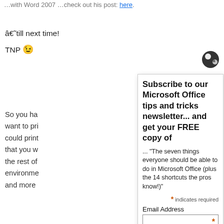…till next time!
TNP 😉
So you ha…want to pri…could print…that you w…the rest of…environme…and more
How to se…
This is rea…want to pri…
1) In the R…
2) Look fo…
[Figure (other): Newsletter subscription popup overlay showing title 'Subscribe to our Microsoft Office tips and tricks newsletter... and get your FREE copy of', subtitle quote about seven things, required field indicator, Email Address field with asterisk, First Name field, and Last Name field]